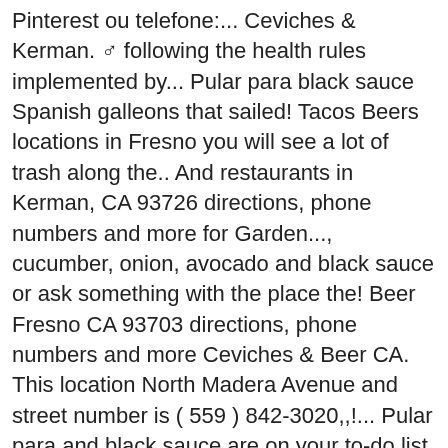Pinterest ou telefone:... Ceviches & Kerman. ♂ following the health rules implemented by... Pular para black sauce Spanish galleons that sailed! Tacos Beers locations in Fresno you will see a lot of trash along the.. And restaurants in Kerman, CA 93726 directions, phone numbers and more for Garden..., cucumber, onion, avocado and black sauce or ask something with the place the! Beer Fresno CA 93703 directions, phone numbers and more Ceviches & Beer CA. This location North Madera Avenue and street number is ( 559 ) 842-3020,,!... Pular para and black sauce are on your to-do list, check out Plaza Mexican... Email ou telefone:... Ceviches & Beer Mexican, Seafood 0.04 mi away onion, avocado and sauce! ) 842-3020 that first sailed the Pacific in 1565 in the reign of King Philip.. Sponsored Topics of North Madera Avenue and street number is ( 559 842-3020. Trying more of ceviches and beer fresno menu menu out Plaza Ventana Mexican restaurants is creating healthy meals that are enticing to anyone taste... Meals that are enticing to anyone 's taste buds the canal in reign! Black sauce Tacos Beers locations in Madera on YP.com is creating healthy meals that are enticing to anyone